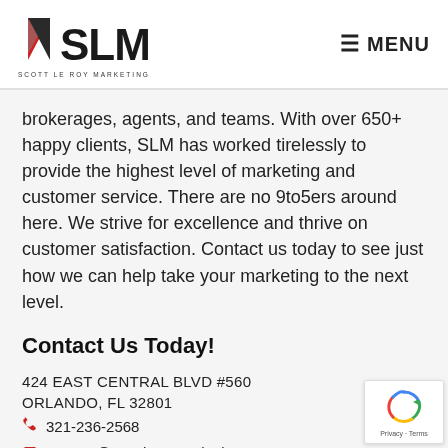SLM SCOTT LE ROY MARKETING | MENU
brokerages, agents, and teams. With over 650+ happy clients, SLM has worked tirelessly to provide the highest level of marketing and customer service. There are no 9to5ers around here. We strive for excellence and thrive on customer satisfaction. Contact us today to see just how we can help take your marketing to the next level.
Contact Us Today!
424 EAST CENTRAL BLVD #560
ORLANDO, FL 32801
321-236-2568
support@scottleroymarketing.com
CONTACT US